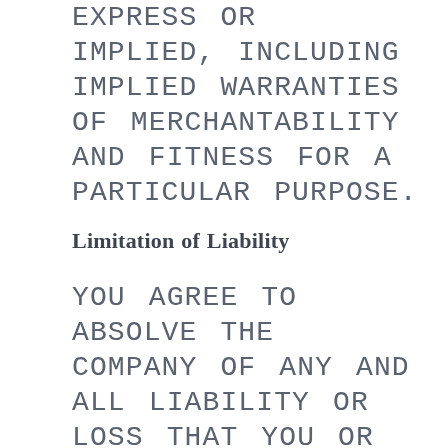EXPRESS OR IMPLIED, INCLUDING IMPLIED WARRANTIES OF MERCHANTABILITY AND FITNESS FOR A PARTICULAR PURPOSE.
Limitation of Liability
YOU AGREE TO ABSOLVE THE COMPANY OF ANY AND ALL LIABILITY OR LOSS THAT YOU OR ANY PERSON OR ENTITY ASSOCIATED WITH YOU MAY SUFFER OR INCUR AS A RESULT OF USE OF THE INFORMATION CONTAINED ON THIS WEBSITE AND/OR THE RESOURCES YOU